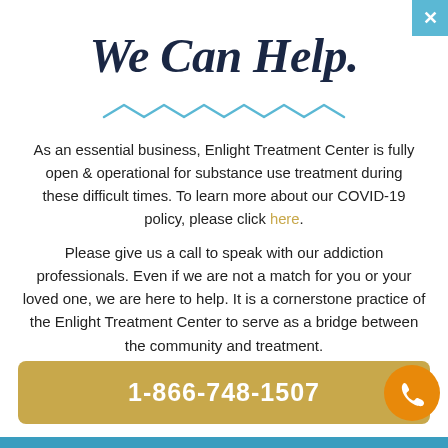We Can Help.
[Figure (illustration): Teal zigzag/wave decorative divider line]
As an essential business, Enlight Treatment Center is fully open & operational for substance use treatment during these difficult times. To learn more about our COVID-19 policy, please click here.
Please give us a call to speak with our addiction professionals. Even if we are not a match for you or your loved one, we are here to help. It is a cornerstone practice of the Enlight Treatment Center to serve as a bridge between the community and treatment.
1-866-748-1507